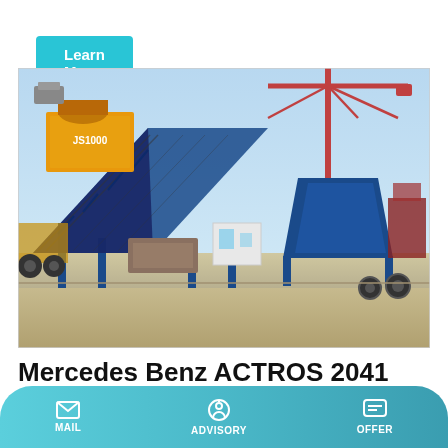Learn More
[Figure (photo): JS1000 concrete batching plant with blue steel frame structure, yellow mixer box labeled JS1000, conveyor belt, white control cabin, and construction crane in background at an industrial yard.]
Mercedes Benz ACTROS 2041 Cement Mixer Truck & Concrete
MAIL | ADVISORY | OFFER